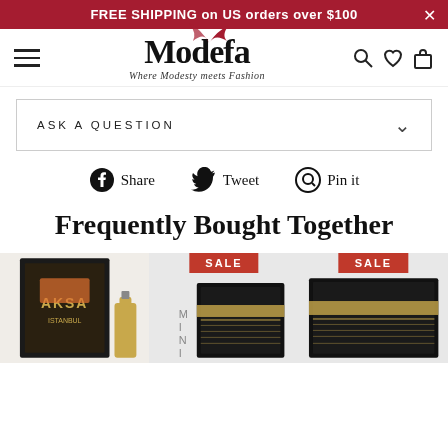FREE SHIPPING on US orders over $100
[Figure (logo): Modefa logo with cursive script and tagline 'Where Modesty meets Fashion']
ASK A QUESTION
Share  Tweet  Pin it
Frequently Bought Together
[Figure (photo): Product image: AKSA Istanbul perfume box with bottle, gold cap]
[Figure (photo): Product image with SALE badge: Mini Kaaba replica]
[Figure (photo): Product image with SALE badge: Kaaba replica model]